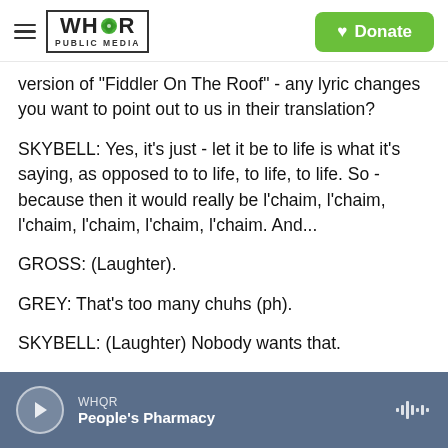WHQR PUBLIC MEDIA | Donate
version of "Fiddler On The Roof" - any lyric changes you want to point out to us in their translation?
SKYBELL: Yes, it's just - let it be to life is what it's saying, as opposed to to life, to life, to life. So - because then it would really be l'chaim, l'chaim, l'chaim, l'chaim, l'chaim, l'chaim. And...
GROSS: (Laughter).
GREY: That's too many chuhs (ph).
SKYBELL: (Laughter) Nobody wants that.
WHQR People's Pharmacy